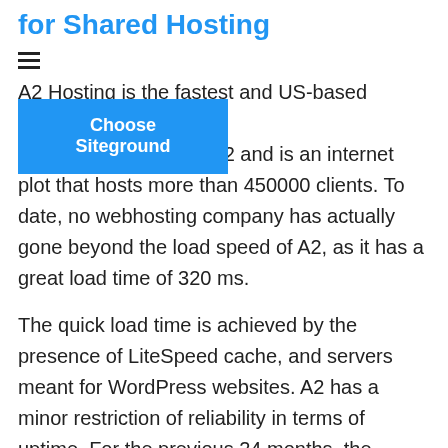for Shared Hosting
[Figure (other): Hamburger menu icon (three horizontal lines)]
A2 Hosting is the fastest and US-based website, an internet plot that hosts more than 450000 clients. To date, no webhosting company has actually gone beyond the load speed of A2, as it has a great load time of 320 ms.
[Figure (other): Blue button with white bold text reading 'Choose Siteground']
The quick load time is achieved by the presence of LiteSpeed cache, and servers meant for WordPress websites. A2 has a minor restriction of reliability in terms of uptime. For the previous 24 months, the hosting provider has actually taped an average uptime of 99.93%.